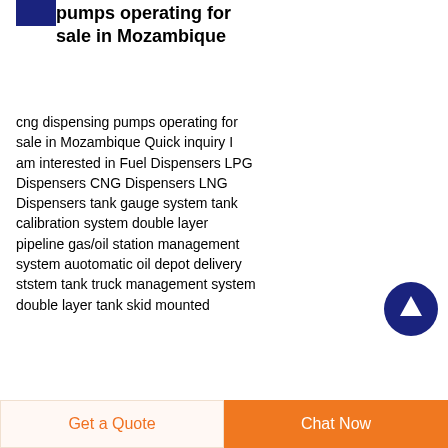[Figure (logo): Small blue rectangular logo in top-left corner]
pumps operating for sale in Mozambique
cng dispensing pumps operating for sale in Mozambique Quick inquiry I am interested in Fuel Dispensers LPG Dispensers CNG Dispensers LNG Dispensers tank gauge system tank calibration system double layer pipeline gas/oil station management system auotomatic oil depot delivery ststem tank truck management system double layer tank skid mounted
[Figure (illustration): Dark blue circular button with white upward arrow icon]
Get a Quote   Chat Now